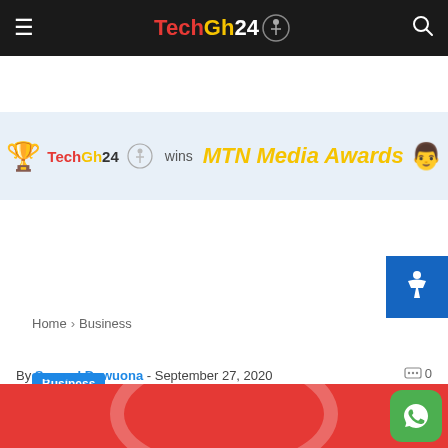TechGh24 — navigation bar with hamburger menu and search icon
[Figure (infographic): TechGh24 wins MTN Media Awards banner advertisement with trophy and person images]
Home › Business
Business
Vodafone wins international arbitration against India in $2 billion tax dispute case
By Samuel Dowuona - September 27, 2020  0
[Figure (photo): Vodafone red background partial logo image at bottom of page]